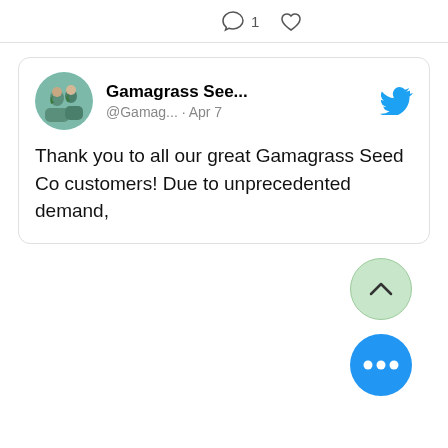[Figure (screenshot): Top bar with comment icon showing count 1 and a heart/like icon]
[Figure (screenshot): Twitter/X embedded tweet card from Gamagrass Seed Co (@Gamag...) posted Apr 7, with profile photo, Twitter bird logo, and tweet text: Thank you to all our great Gamagrass Seed Co customers! Due to unprecedented demand,]
Thank you to all our great Gamagrass Seed Co customers! Due to unprecedented demand,
[Figure (illustration): Green circular scroll-up button with upward chevron arrow]
[Figure (illustration): Blue circular more-options button with three white dots]